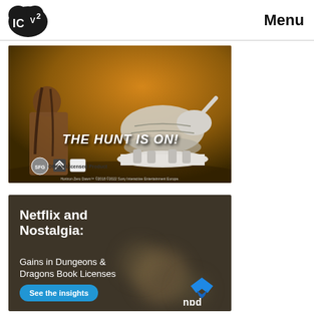ICV2 | Menu
[Figure (photo): Horizon Zero Dawn tabletop miniatures game advertisement. Shows a fantasy warrior character on left and a large mechanical creature miniature on right against an orange/brown desert background. Text reads 'THE HUNT IS ON!' with SFG, PlayStation logos visible. Small text: 'Horizon Zero Dawn™ ©2018 ©2022 Sony Interactive Entertainment Europe.']
[Figure (photo): NPD Group advertisement with dark brown/olive background with blurred bokeh orbs. White text reads 'Netflix and Nostalgia:' in bold, then 'Gains in Dungeons & Dragons Book Licenses' in lighter weight. Blue rounded button reads 'See the insights'. NPD logo (blue chevron mark with 'npd' text) bottom right.]